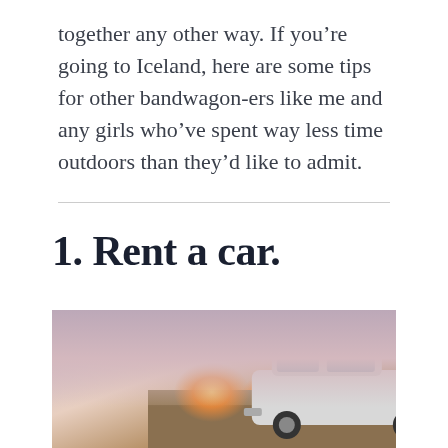together any other way. If you're going to Iceland, here are some tips for other bandwagon-ers like me and any girls who've spent way less time outdoors than they'd like to admit.
1. Rent a car.
[Figure (photo): A 4x4 SUV with a roof rack photographed against a dramatic pink and orange sunset sky, with a flat landscape in the background.]